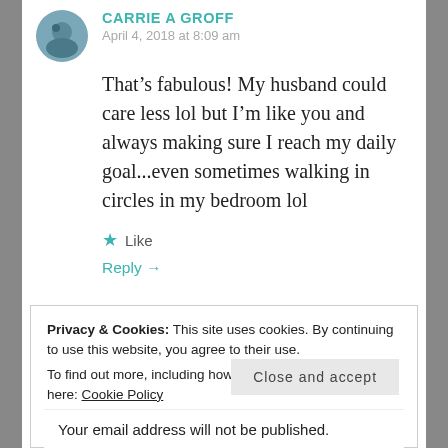CARRIE A GROFF
April 4, 2018 at 8:09 am
That’s fabulous! My husband could care less lol but I’m like you and always making sure I reach my daily goal...even sometimes walking in circles in my bedroom lol
★ Like
Reply →
Privacy & Cookies: This site uses cookies. By continuing to use this website, you agree to their use.
To find out more, including how to control cookies, see here: Cookie Policy
Close and accept
Your email address will not be published.